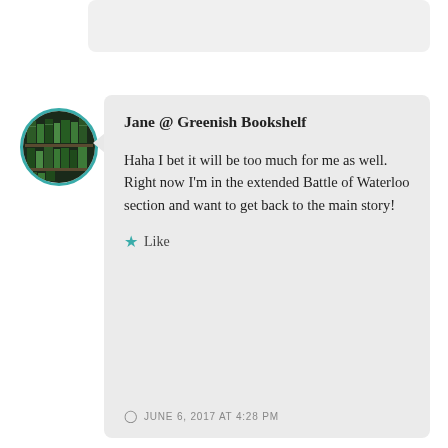Jane @ Greenish Bookshelf
Haha I bet it will be too much for me as well. Right now I’m in the extended Battle of Waterloo section and want to get back to the main story!
★ Like
JUNE 6, 2017 AT 4:28 PM